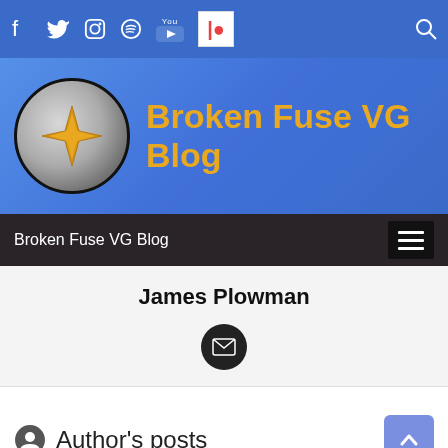[Figure (screenshot): Social media icons bar: Facebook, Twitter, Instagram, Spotify, YouTube, Patreon on blue background with search icon on right]
[Figure (logo): Broken Fuse VG Blog header banner with circular logo (silver/gold diamond shape) and blog title in gold text on blue gradient background]
Broken Fuse VG Blog
James Plowman
[Figure (illustration): Dark circular email envelope icon button]
Author's posts
Snake Eater Extended